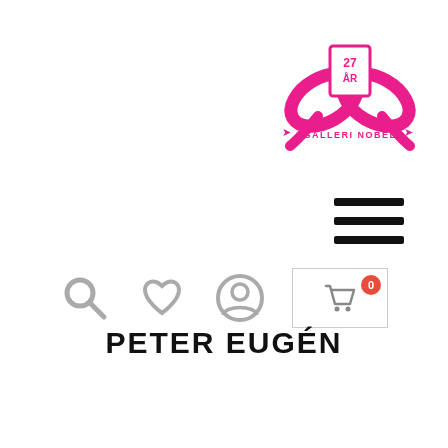[Figure (logo): Galleri Nobel 27 år logo — pink ribbon/bow with a framed '27 ÅR' badge and text 'GALLERI NOBEL' with arrows on each side]
[Figure (other): Hamburger menu icon — three horizontal black bars]
[Figure (other): Navigation icons row: magnifier/search (grey), heart/wishlist (grey), user/profile (grey), shopping cart with badge '0' in a bordered box]
PETER EUGÉN